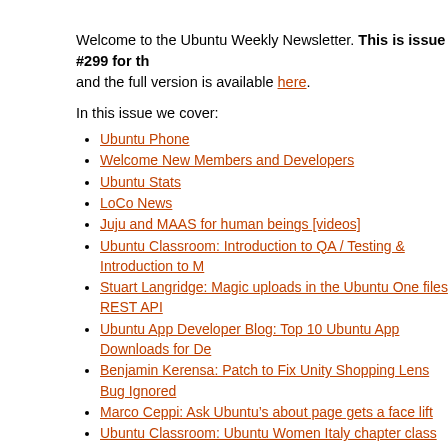Welcome to the Ubuntu Weekly Newsletter. This is issue #299 for th… and the full version is available here.
In this issue we cover:
Ubuntu Phone
Welcome New Members and Developers
Ubuntu Stats
LoCo News
Juju and MAAS for human beings [videos]
Ubuntu Classroom: Introduction to QA / Testing & Introduction to M…
Stuart Langridge: Magic uploads in the Ubuntu One files REST API
Ubuntu App Developer Blog: Top 10 Ubuntu App Downloads for De…
Benjamin Kerensa: Patch to Fix Unity Shopping Lens Bug Ignored
Marco Ceppi: Ask Ubuntu's about page gets a face lift
Ubuntu Classroom: Ubuntu Women Italy chapter class
Ubuntu Gets 1% Share in Steam Client Usage
Visualising the Ubuntu Package Repository
Ubuntu's Hardware-Backported LTS Gets Delayed
Other Articles of Interest
Featured Audio and Video
Weekly Ubuntu Development Team Meetings
Upcoming Meetings and Events
Updates and Security for 8.04, 10.04, 11.10, 12.04 and 12.10
And much more!
The issue of The Ubuntu Weekly Newsletter is also available…